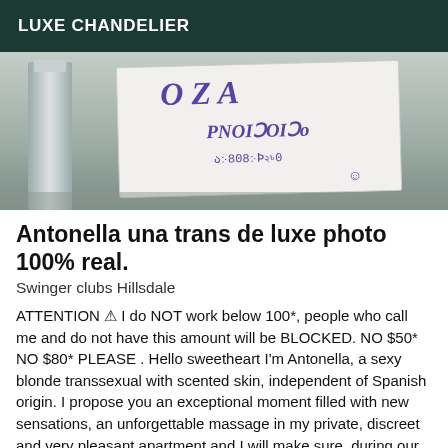LUXE CHANDELIER
[Figure (photo): A handwritten sign with mirrored/stylized text showing what appears to be a phone number and name, held up near a sink faucet]
Antonella una trans de luxe photo 100% real.
Swinger clubs Hillsdale
ATTENTION ⚠ I do NOT work below 100*, people who call me and do not have this amount will be BLOCKED. NO $50* NO $80* PLEASE . Hello sweetheart I'm Antonella, a sexy blonde transsexual with scented skin, independent of Spanish origin. I propose you an exceptional moment filled with new sensations, an unforgettable massage in my private, discreet and very pleasant apartment and I will make sure, during our